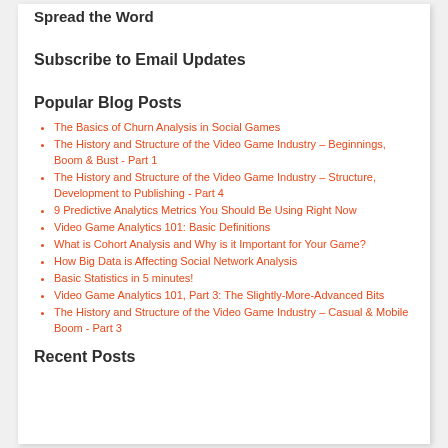Spread the Word
Subscribe to Email Updates
Popular Blog Posts
The Basics of Churn Analysis in Social Games
The History and Structure of the Video Game Industry – Beginnings, Boom & Bust - Part 1
The History and Structure of the Video Game Industry – Structure, Development to Publishing - Part 4
9 Predictive Analytics Metrics You Should Be Using Right Now
Video Game Analytics 101: Basic Definitions
What is Cohort Analysis and Why is it Important for Your Game?
How Big Data is Affecting Social Network Analysis
Basic Statistics in 5 minutes!
Video Game Analytics 101, Part 3: The Slightly-More-Advanced Bits
The History and Structure of the Video Game Industry – Casual & Mobile Boom - Part 3
Recent Posts